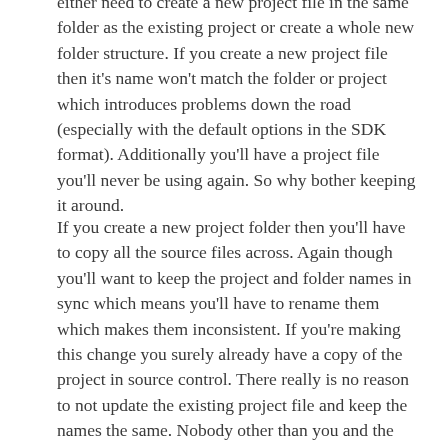either need to create a new project file in the same folder as the existing project or create a whole new folder structure. If you create a new project file then it's name won't match the folder or project which introduces problems down the road (especially with the default options in the SDK format). Additionally you'll have a project file you'll never be using again. So why bother keeping it around.
If you create a new project folder then you'll have to copy all the source files across. Again though you'll want to keep the project and folder names in sync which means you'll have to rename them which makes them inconsistent. If you're making this change you surely already have a copy of the project in source control. There really is no reason to not update the existing project file and keep the names the same. Nobody other than you and the compiler are going to know anyway.